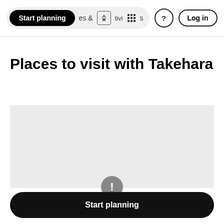Start planning | & Activities | ? | Log in
Places to visit with Takehara
[Figure (map): A light gray placeholder map area with an information icon button at the bottom center]
Start planning